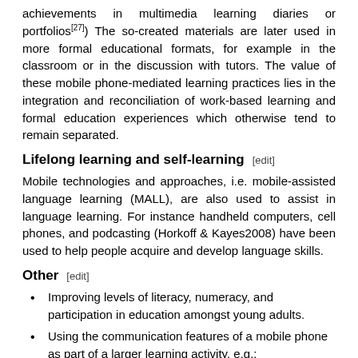achievements in multimedia learning diaries or portfolios[27]) The so-created materials are later used in more formal educational formats, for example in the classroom or in the discussion with tutors. The value of these mobile phone-mediated learning practices lies in the integration and reconciliation of work-based learning and formal education experiences which otherwise tend to remain separated.
Lifelong learning and self-learning [edit]
Mobile technologies and approaches, i.e. mobile-assisted language learning (MALL), are also used to assist in language learning. For instance handheld computers, cell phones, and podcasting (Horkoff & Kayes2008) have been used to help people acquire and develop language skills.
Other [edit]
Improving levels of literacy, numeracy, and participation in education amongst young adults.
Using the communication features of a mobile phone as part of a larger learning activity, e.g.: